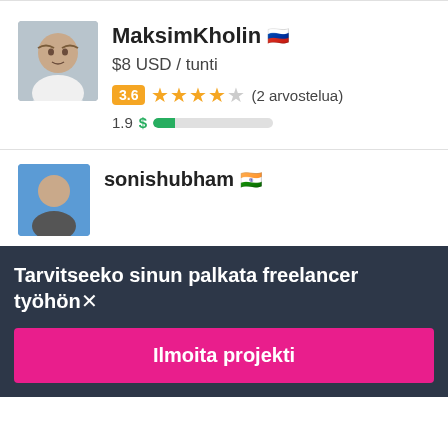[Figure (photo): Profile photo of MaksimKholin, a young man in a white shirt]
MaksimKholin 🇷🇺
$8 USD / tunti
3.6 ★★★★☆ (2 arvostelua)
1.9 $ ██░░░░░░░░
[Figure (photo): Partial profile photo of sonishubham]
sonishubham 🇮🇳
Tarvitseeko sinun palkata freelancer työhön✕
Ilmoita projekti